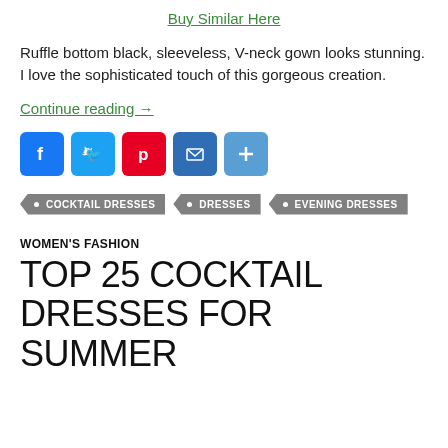Buy Similar Here
Ruffle bottom black, sleeveless, V-neck gown looks stunning. I love the sophisticated touch of this gorgeous creation.
Continue reading →
[Figure (infographic): Row of social sharing buttons: Facebook (blue), Twitter (light blue), Pinterest (red), Email (dark blue), More/Plus (medium blue)]
COCKTAIL DRESSES
DRESSES
EVENING DRESSES
WOMEN'S FASHION
TOP 25 COCKTAIL DRESSES FOR SUMMER